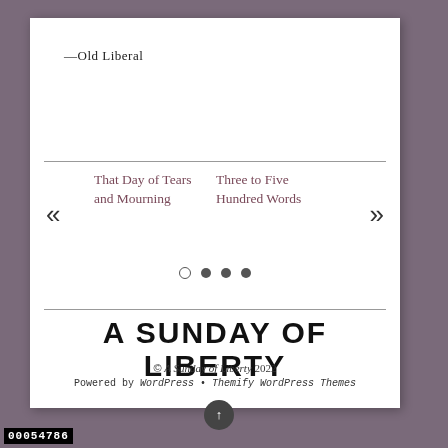—Old Liberal
That Day of Tears and Mourning
Three to Five Hundred Words
A SUNDAY OF LIBERTY
© A Sunday of Liberty 2022
Powered by WordPress • Themify WordPress Themes
00054786